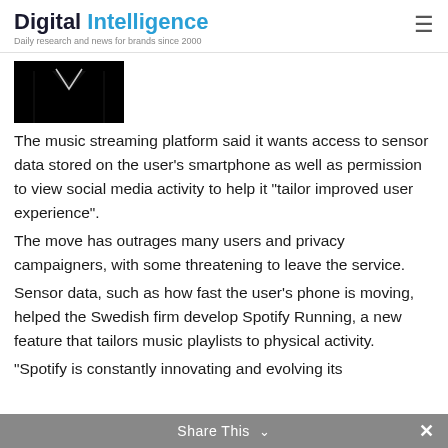Digital Intelligence
Daily research and news for brands since 2000
[Figure (photo): Partial image of Spotify logo or related brand imagery on black background]
The music streaming platform said it wants access to sensor data stored on the user’s smartphone as well as permission to view social media activity to help it “tailor improved user experience”.
The move has outrages many users and privacy campaigners, with some threatening to leave the service.
Sensor data, such as how fast the user’s phone is moving, helped the Swedish firm develop Spotify Running, a new feature that tailors music playlists to physical activity.
“Spotify is constantly innovating and evolving its
Share This ⌄